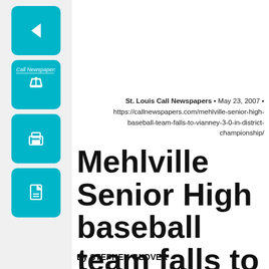[Figure (other): Sidebar with teal navigation buttons: back arrow, edit/pencil, print, and PDF/document icons]
St. Louis Call Newspapers • May 23, 2007 • https://callnewspapers.com/mehlville-senior-high-baseball-team-falls-to-vianney-3-0-in-district-championship/
Mehlville Senior High baseball team falls to Vianney 3-0 in district championship
By STEPHEN GLOVER